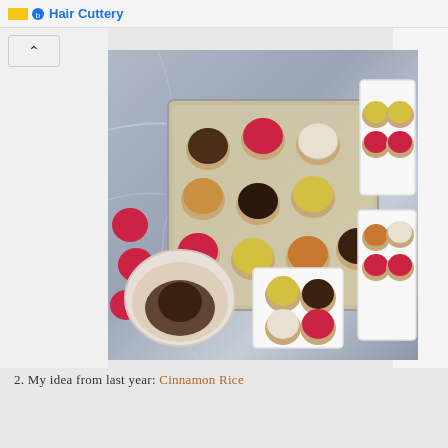Hair Cuttery
[Figure (photo): Overhead view of colorful chocolate truffles in paper cups arranged in white rectangular boxes and a large tray on a marble surface, with a ceramic bowl containing cocoa powder and a few loose truffles. Truffles are coated in various colors including red, yellow, brown, white coconut, and nut-covered.]
2. My idea from last year: Cinnamon Rice